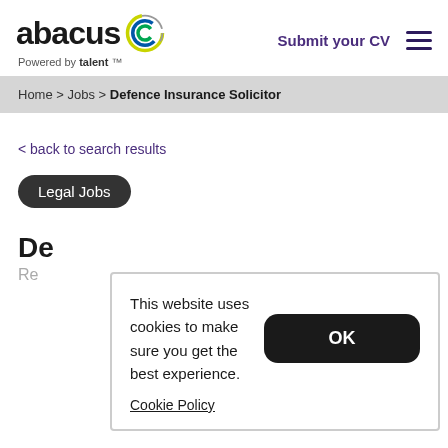[Figure (logo): Abacus logo with circular multicolor icon, text 'abacus Powered by talent']
Submit your CV
Home > Jobs > Defence Insurance Solicitor
< back to search results
Legal Jobs
De[fence Insurance Solicitor]
Re[ference]
This website uses cookies to make sure you get the best experience.
OK
Cookie Policy